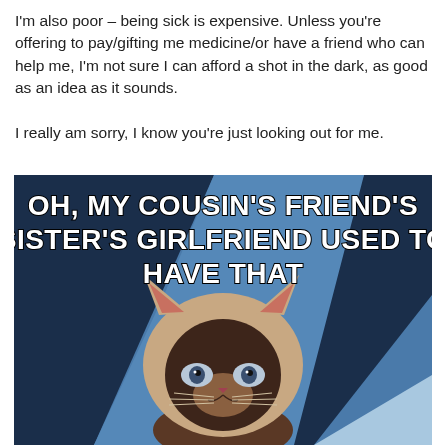I'm also poor – being sick is expensive. Unless you're offering to pay/gifting me medicine/or have a friend who can help me, I'm not sure I can afford a shot in the dark, as good as an idea as it sounds.

I really am sorry, I know you're just looking out for me.
[Figure (illustration): Internet meme featuring a Siamese cat (Chronic Illness Cat / Illnesses Cat meme) against a blue geometric background. Bold white text with black outline reads: 'OH, MY COUSIN'S FRIEND'S SISTER'S GIRLFRIEND USED TO HAVE THAT']